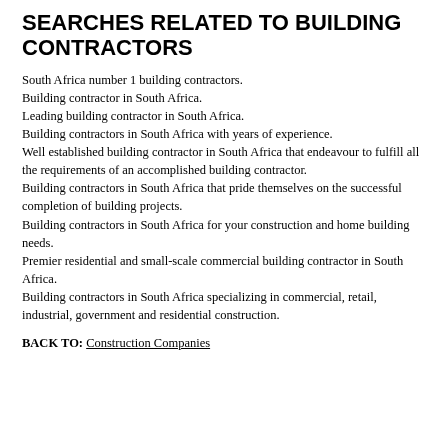SEARCHES RELATED TO BUILDING CONTRACTORS
South Africa number 1 building contractors.
Building contractor in South Africa.
Leading building contractor in South Africa.
Building contractors in South Africa with years of experience.
Well established building contractor in South Africa that endeavour to fulfill all the requirements of an accomplished building contractor.
Building contractors in South Africa that pride themselves on the successful completion of building projects.
Building contractors in South Africa for your construction and home building needs.
Premier residential and small-scale commercial building contractor in South Africa.
Building contractors in South Africa specializing in commercial, retail, industrial, government and residential construction.
BACK TO: Construction Companies